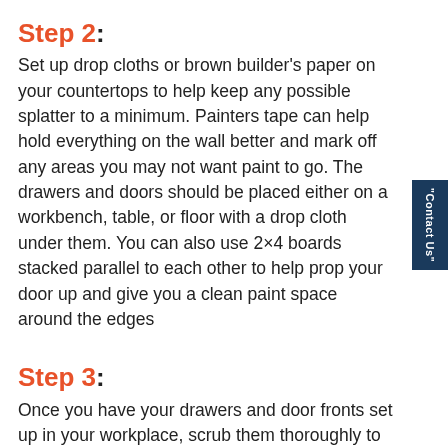Step 2:
Set up drop cloths or brown builder's paper on your countertops to help keep any possible splatter to a minimum. Painters tape can help hold everything on the wall better and mark off any areas you may not want paint to go. The drawers and doors should be placed either on a workbench, table, or floor with a drop cloth under them. You can also use 2×4 boards stacked parallel to each other to help prop your door up and give you a clean paint space around the edges
Step 3:
Once you have your drawers and door fronts set up in your workplace, scrub them thoroughly to make sure any grease is removed. Make sure to let them dry completely before sanding. Once you start to sand